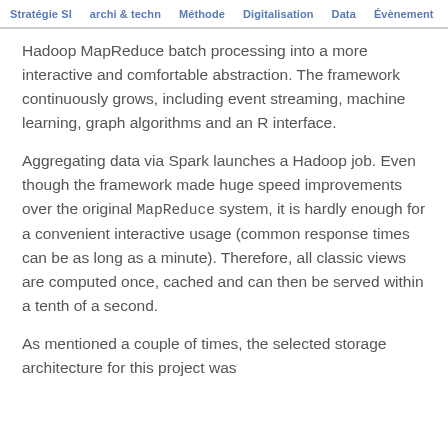Stratégie SI   archi & techn   Méthode   Digitalisation   Data   Évènement
Hadoop MapReduce batch processing into a more interactive and comfortable abstraction. The framework continuously grows, including event streaming, machine learning, graph algorithms and an R interface.
Aggregating data via Spark launches a Hadoop job. Even though the framework made huge speed improvements over the original MapReduce system, it is hardly enough for a convenient interactive usage (common response times can be as long as a minute). Therefore, all classic views are computed once, cached and can then be served within a tenth of a second.
As mentioned a couple of times, the selected storage architecture for this project was